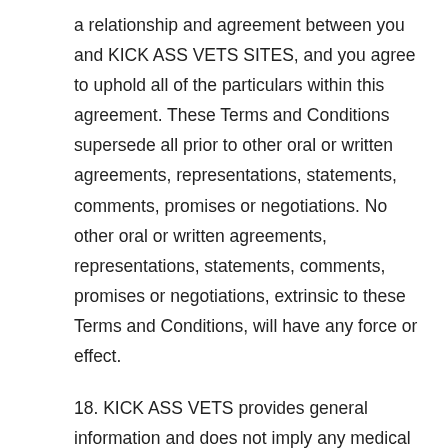a relationship and agreement between you and KICK ASS VETS SITES, and you agree to uphold all of the particulars within this agreement. These Terms and Conditions supersede all prior to other oral or written agreements, representations, statements, comments, promises or negotiations. No other oral or written agreements, representations, statements, comments, promises or negotiations, extrinsic to these Terms and Conditions, will have any force or effect.
18. KICK ASS VETS provides general information and does not imply any medical advice to any veterinarian or individual using the SITES. The information provided on our SITES, either medical or otherwise, is provided without any representations or warranties, express or implied. The CONTENT of this website is based on